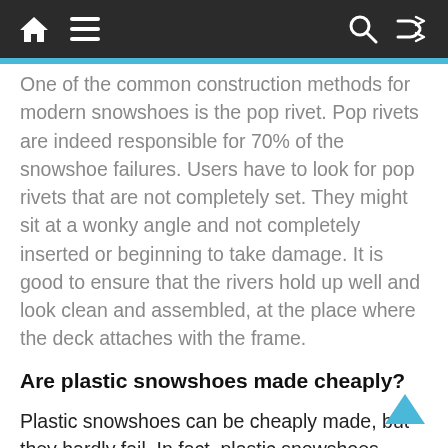Navigation bar with home, menu, search, and shuffle icons
One of the common construction methods for modern snowshoes is the pop rivet. Pop rivets are indeed responsible for 70% of the snowshoe failures. Users have to look for pop rivets that are not completely set. They might sit at a wonky angle and not completely inserted or beginning to take damage. It is good to ensure that the rivers hold up well and look clean and assembled, at the place where the deck attaches with the frame.
Are plastic snowshoes made cheaply?
Plastic snowshoes can be cheaply made, but they hardly fail. In fact, plastic snowshoes might be one’s personal favorite as it is not possible to destruct them practically. As their construction is from a single piece of molded plastic, these